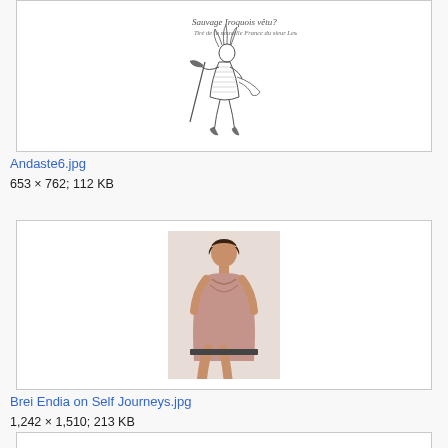[Figure (illustration): Historical engraving of a figure dressed in elaborate costume holding a staff, with French text above reading 'Sauvage Iroquois vêtu']
Andaste6.jpg
653 × 762; 112 KB
[Figure (photo): Photo of Brei Endia, a woman wearing a pink draped dress, seated and posing for a professional photograph]
Brei Endia on Self Journeys.jpg
1,242 × 1,510; 213 KB
[Figure (photo): Partial image box at bottom of page, content cut off]